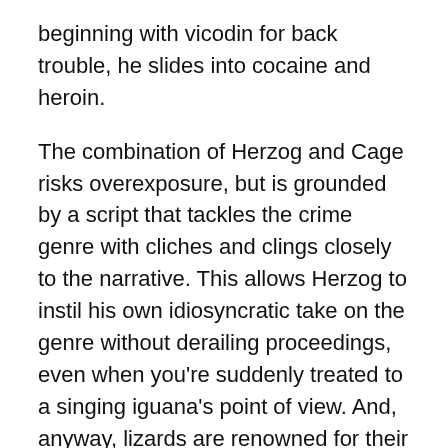beginning with vicodin for back trouble, he slides into cocaine and heroin.
The combination of Herzog and Cage risks overexposure, but is grounded by a script that tackles the crime genre with cliches and clings closely to the narrative. This allows Herzog to instil his own idiosyncratic take on the genre without derailing proceedings, even when you’re suddenly treated to a singing iguana’s point of view. And, anyway, lizards are renowned for their eyesight.
The Ballad of Jack and Rose (2005) –
3.5/10